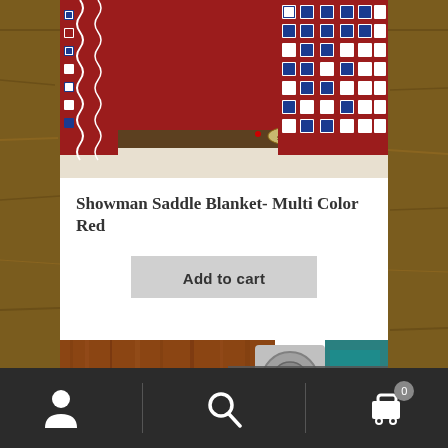[Figure (photo): Showman saddle blanket in multi color red pattern with blue and white geometric design, folded showing brand label]
Showman Saddle Blanket- Multi Color Red
Add to cart
[Figure (photo): Partial view of a second product image showing brown fur/leather and metal hardware]
$65.00 $25.00
Bottom navigation bar with person icon, search icon, and cart icon with badge 0